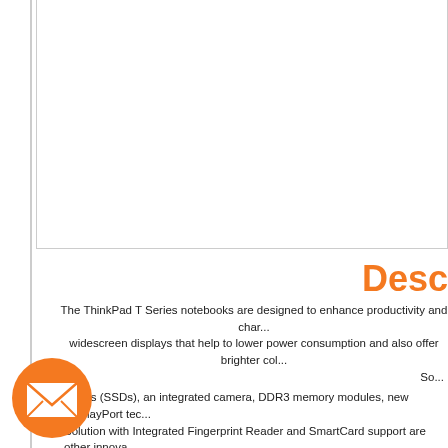[Figure (other): White rectangular box with grey border occupying the upper portion of the page]
Desc
The ThinkPad T Series notebooks are designed to enhance productivity and char... widescreen displays that help to lower power consumption and also offer brighter col... So... Drives (SSDs), an integrated camera, DDR3 memory modules, new DisplayPort tec... Solution with Integrated Fingerprint Reader and SmartCard support are other innova... in... Pad notebooks are also environmentally responsible as well and can meet El... ide, round-the-clock service and support. They also come with an industry-lea... repair and replacement servi...
[Figure (illustration): Orange circle with white envelope/mail icon overlaid on the lower-left area of the page]